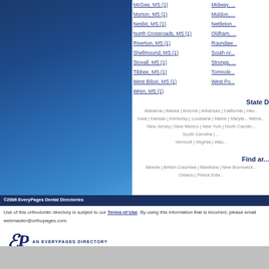[Figure (illustration): Blue gradient sidebar background on the left side]
McGee, MS (1)
Morton, MS (1)
Nesbit, MS (1)
North Crossroads, MS (1)
Riverton, MS (1)
Shellmound, MS (1)
Stovall, MS (1)
Tibbee, MS (1)
West Biloxi, MS (1)
Wren, MS (1)
Midway, ...
Muldon, ...
Nettleton ...
Oldham, ...
Roundaw...
South Ar...
Strongs, ...
Tomnole...
West Po...
State D...
Alabama | Alaska | Arizona | Arkansas | California | ... Hav...
Iowa | Kansas | Kentucky | Louisiana | Maine | Maryla... Nebra...
New Jersey | New Mexico | New York | North Carolin... South Carolina | ...
Vermont | Virginia | Was...
Find ar...
Alberta | British Columbia | Manitoba | New Brunswick... Ontario | Prince Edw...
©2006 EveryPages Dental Directories
Use of this orthodontic directory is subject to our Terms of Use. By using this information that is incorrect, please email webmaster@orthopages.com.
[Figure (logo): EveryPages logo - stylized EP monogram with text AN EVERYPAGES DIRECTORY]